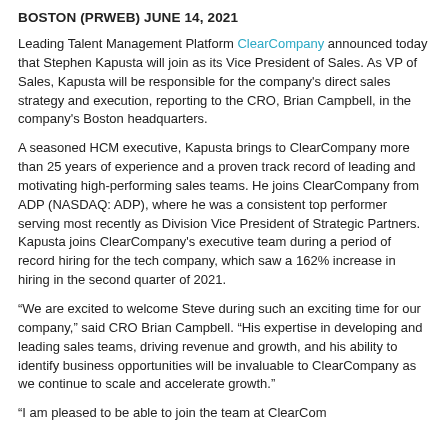BOSTON (PRWEB) JUNE 14, 2021
Leading Talent Management Platform ClearCompany announced today that Stephen Kapusta will join as its Vice President of Sales. As VP of Sales, Kapusta will be responsible for the company's direct sales strategy and execution, reporting to the CRO, Brian Campbell, in the company's Boston headquarters.
A seasoned HCM executive, Kapusta brings to ClearCompany more than 25 years of experience and a proven track record of leading and motivating high-performing sales teams. He joins ClearCompany from ADP (NASDAQ: ADP), where he was a consistent top performer serving most recently as Division Vice President of Strategic Partners. Kapusta joins ClearCompany's executive team during a period of record hiring for the tech company, which saw a 162% increase in hiring in the second quarter of 2021.
“We are excited to welcome Steve during such an exciting time for our company,” said CRO Brian Campbell. “His expertise in developing and leading sales teams, driving revenue and growth, and his ability to identify business opportunities will be invaluable to ClearCompany as we continue to scale and accelerate growth.”